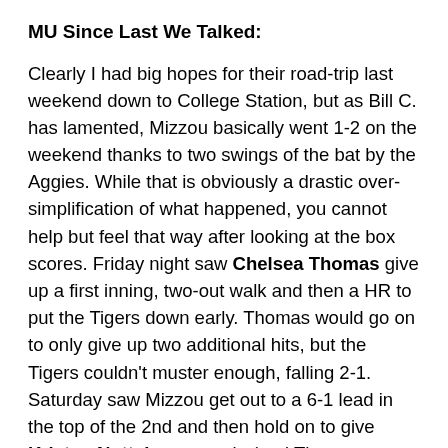MU Since Last We Talked:
Clearly I had big hopes for their road-trip last weekend down to College Station, but as Bill C. has lamented, Mizzou basically went 1-2 on the weekend thanks to two swings of the bat by the Aggies. While that is obviously a drastic over-simplification of what happened, you cannot help but feel that way after looking at the box scores. Friday night saw Chelsea Thomas give up a first inning, two-out walk and then a HR to put the Tigers down early. Thomas would go on to only give up two additional hits, but the Tigers couldn't muster enough, falling 2-1. Saturday saw Mizzou get out to a 6-1 lead in the top of the 2nd and then hold on to give Kristen Nottelmann a win (and Thomas a save) by the final of 6-5. The rubber game on Sunday had Thomas pitch another gem, but she